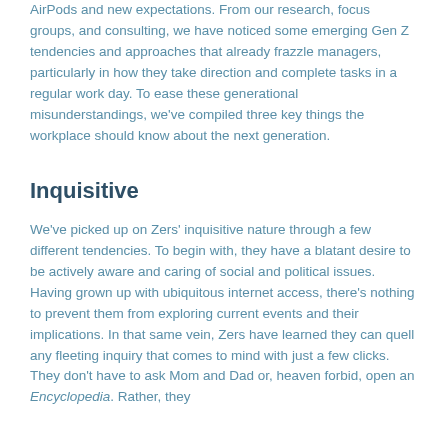AirPods and new expectations. From our research, focus groups, and consulting, we have noticed some emerging Gen Z tendencies and approaches that already frazzle managers, particularly in how they take direction and complete tasks in a regular work day. To ease these generational misunderstandings, we've compiled three key things the workplace should know about the next generation.
Inquisitive
We've picked up on Zers' inquisitive nature through a few different tendencies. To begin with, they have a blatant desire to be actively aware and caring of social and political issues. Having grown up with ubiquitous internet access, there's nothing to prevent them from exploring current events and their implications. In that same vein, Zers have learned they can quell any fleeting inquiry that comes to mind with just a few clicks. They don't have to ask Mom and Dad or, heaven forbid, open an Encyclopedia. Rather, they